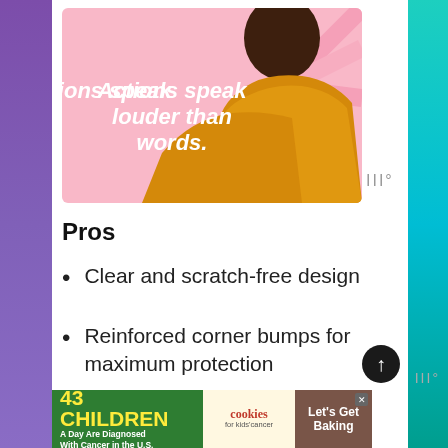[Figure (illustration): Advertisement with illustration of a person wearing a yellow/gold turtleneck with text 'Actions speak louder than words.' overlaid in white bold italic text on a pink background]
Pros
Clear and scratch-free design
Reinforced corner bumps for maximum protection
A cheaper option for iPhone covers
[Figure (infographic): Bottom advertisement banner: '43 CHILDREN A Day Are Diagnosed With Cancer in the U.S.' with cookies for kids' cancer logo and 'Let's Get Baking' text]